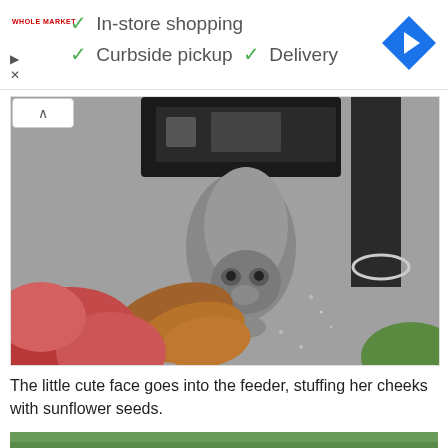[Figure (screenshot): Advertisement banner for Whole Market with checkmarks listing: In-store shopping, Curbside pickup, Delivery. A blue diamond navigation icon appears on the right. Play and close icons on the left.]
[Figure (photo): A squirrel hanging upside down from a bird feeder, with a large bushy brown-red tail and pink flowers/shrubs visible below. The squirrel appears to be raiding the feeder.]
The little cute face goes into the feeder, stuffing her cheeks with sunflower seeds.
[Figure (photo): Partial view of a green outdoor scene at the bottom of the page.]